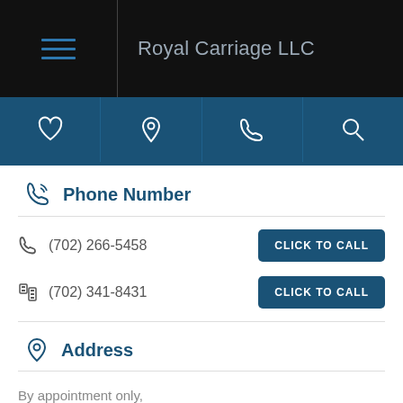Royal Carriage LLC
[Figure (screenshot): Navigation icon bar with heart, location pin, phone, and search icons on dark blue background]
Phone Number
(702) 266-5458  CLICK TO CALL
(702) 341-8431  CLICK TO CALL
Address
By appointment only,
Las Vegas NV 89102
Opening Hours